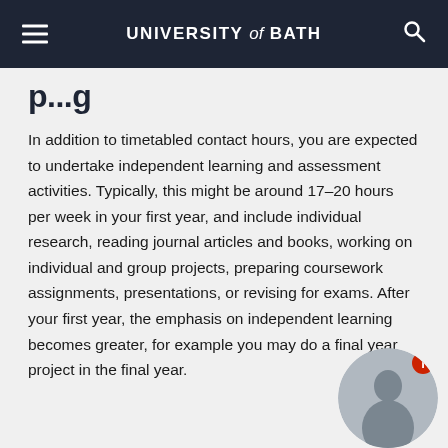UNIVERSITY of BATH
p...g
In addition to timetabled contact hours, you are expected to undertake independent learning and assessment activities. Typically, this might be around 17–20 hours per week in your first year, and include individual research, reading journal articles and books, working on individual and group projects, preparing coursework assignments, presentations, or revising for exams. After your first year, the emphasis on independent learning becomes greater, for example you may do a final year project in the final year.
[Figure (photo): Circular photo of a person standing in a room, with a red info badge overlay]